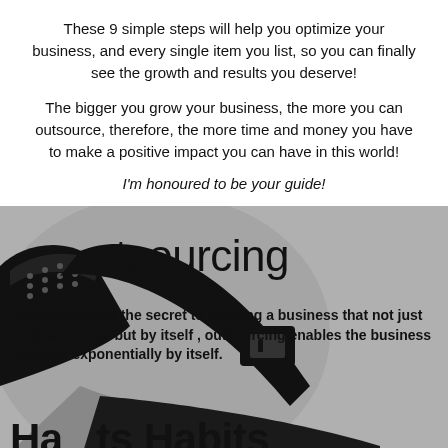These 9 simple steps will help you optimize your business, and every single item you list, so you can finally see the growth and results you deserve!
The bigger you grow your business, the more you can outsource, therefore, the more time and money you have to make a positive impact you can have in this world!
I'm honoured to be your guide!
[Figure (photo): Close-up photo of black leather shoes/boots on a light grey background, partially visible, overlaid with text about outsourcing.]
tsourcing
Outsourcing is the secret to building a business that not just makes money but by itself , outsourcing enables the business to grow exponentially by itself.
Ha   ts Habits